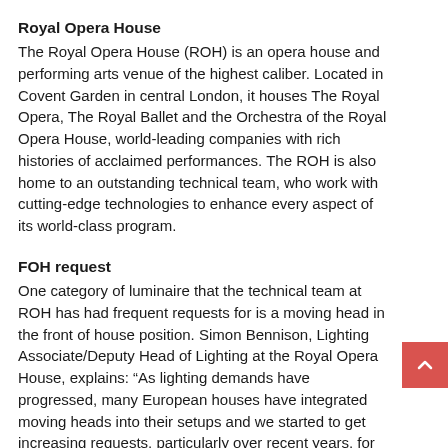Royal Opera House
The Royal Opera House (ROH) is an opera house and performing arts venue of the highest caliber. Located in Covent Garden in central London, it houses The Royal Opera, The Royal Ballet and the Orchestra of the Royal Opera House, world-leading companies with rich histories of acclaimed performances. The ROH is also home to an outstanding technical team, who work with cutting-edge technologies to enhance every aspect of its world-class program.
FOH request
One category of luminaire that the technical team at ROH has had frequent requests for is a moving head in the front of house position. Simon Bennison, Lighting Associate/Deputy Head of Lighting at the Royal Opera House, explains: “As lighting demands have progressed, many European houses have integrated moving heads into their setups and we started to get increasing requests, particularly over recent years, for bright, flexible moving head fixtures in the FOH area. We have